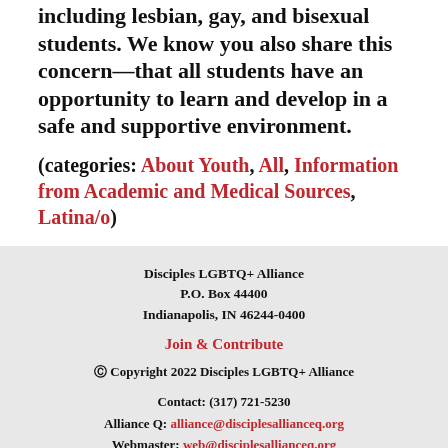including lesbian, gay, and bisexual students. We know you also share this concern—that all students have an opportunity to learn and develop in a safe and supportive environment.
(categories: About Youth, All, Information from Academic and Medical Sources, Latina/o)
Disciples LGBTQ+ Alliance
P.O. Box 44400
Indianapolis, IN 46244-0400

Join & Contribute

© Copyright 2022 Disciples LGBTQ+ Alliance

Contact: (317) 721-5230
Alliance Q: alliance@discipllesallianceq.org
Webmaster: web@disciplesallianceq.org